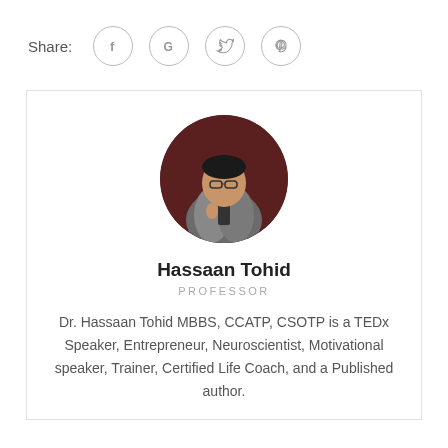Share:
[Figure (illustration): Social share icons: Facebook (f), Google (G), Twitter bird, Pinterest (p) — each in a grey circle outline]
[Figure (photo): Circular profile photo of Hassaan Tohid speaking on a TEDx stage, wearing a grey suit against a dark red background]
Hassaan Tohid
PROFESSOR
Dr. Hassaan Tohid MBBS, CCATP, CSOTP is a TEDx Speaker, Entrepreneur, Neuroscientist, Motivational speaker, Trainer, Certified Life Coach, and a Published author.